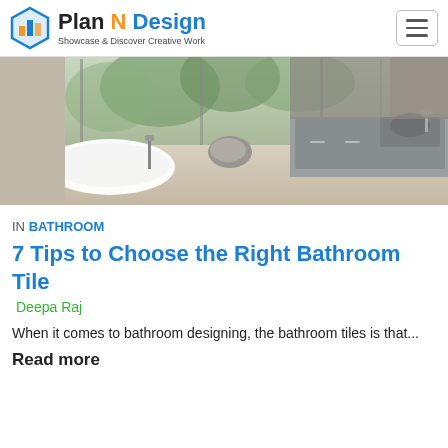Plan N Design — Showcase & Discover Creative Work
[Figure (photo): Modern luxury bathroom interior with freestanding white bathtub, large glass windows overlooking greenery, stone accent, and grey vanity cabinets with sink.]
IN BATHROOM
7 Tips to Choose the Right Bathroom Tile
Deepa Raj
When it comes to bathroom designing, the bathroom tiles is that...
Read more